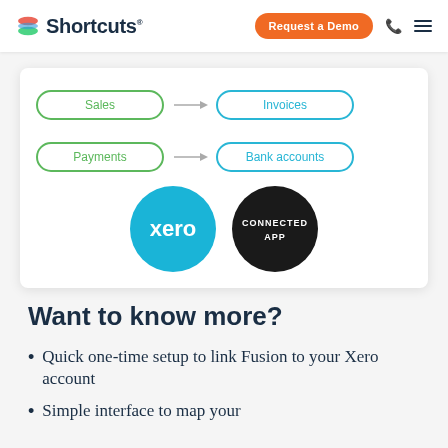Shortcuts | Request a Demo
[Figure (flowchart): Flowchart showing Sales → Invoices and Payments → Bank accounts, with Xero connected app badges below]
Want to know more?
Quick one-time setup to link Fusion to your Xero account
Simple interface to map your